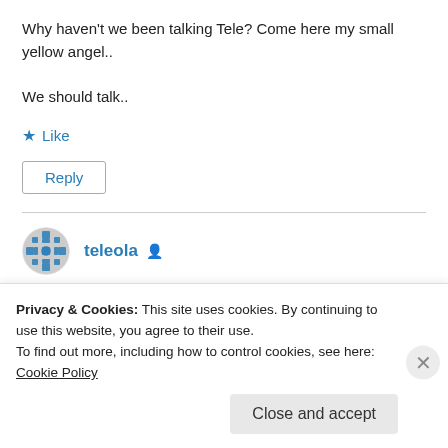Why haven't we been talking Tele? Come here my small yellow angel.. We should talk..
★ Like
Reply
teleola
September 18, 2014 at 6:22 pm
Privacy & Cookies: This site uses cookies. By continuing to use this website, you agree to their use.
To find out more, including how to control cookies, see here: Cookie Policy
Close and accept